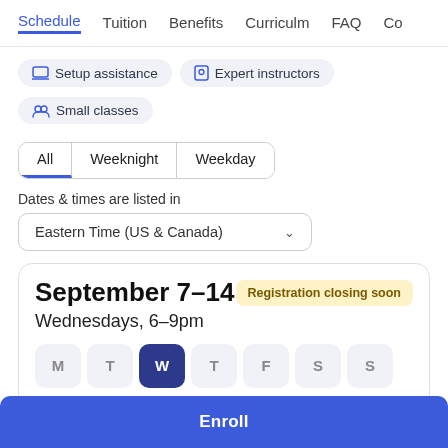Schedule | Tuition | Benefits | Curriculm | FAQ | Co
Setup assistance
Expert instructors
Small classes
All | Weeknight | Weekday
Dates & times are listed in
Eastern Time (US & Canada)
September 7–14
Registration closing soon
Wednesdays, 6–9pm
M T W T F S S
Enroll